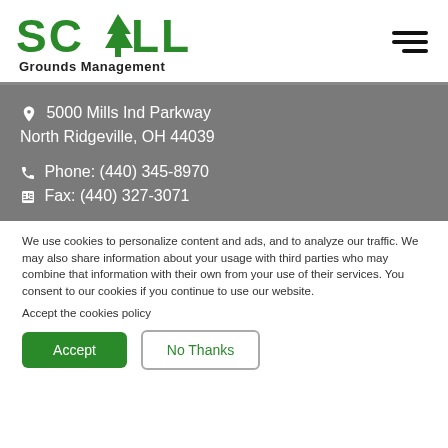[Figure (logo): Schill Grounds Management logo with green text SCHILL and a tree icon, subtitle Grounds Management in black]
5000 Mills Ind Parkway
North Ridgeville, OH 44039
Phone: (440) 345-8970
Fax: (440) 327-3071
We use cookies to personalize content and ads, and to analyze our traffic. We may also share information about your usage with third parties who may combine that information with their own from your use of their services. You consent to our cookies if you continue to use our website.
Accept the cookies policy